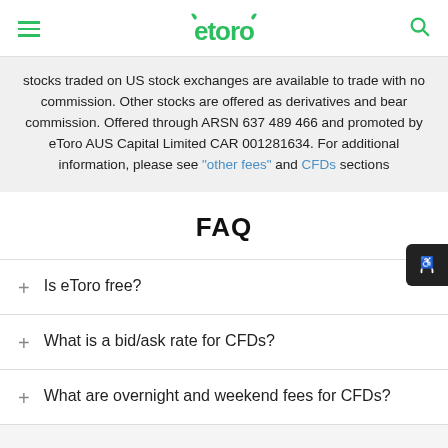eToro
stocks traded on US stock exchanges are available to trade with no commission. Other stocks are offered as derivatives and bear commission. Offered through ARSN 637 489 466 and promoted by eToro AUS Capital Limited CAR 001281634. For additional information, please see "other fees" and CFDs sections
FAQ
Is eToro free?
What is a bid/ask rate for CFDs?
What are overnight and weekend fees for CFDs?